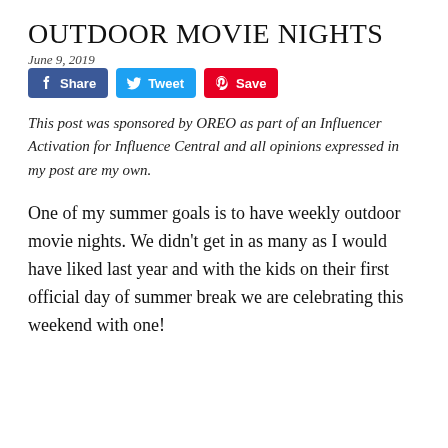OUTDOOR MOVIE NIGHTS
June 9, 2019
[Figure (other): Social share buttons: Facebook Share, Twitter Tweet, Pinterest Save]
This post was sponsored by OREO as part of an Influencer Activation for Influence Central and all opinions expressed in my post are my own.
One of my summer goals is to have weekly outdoor movie nights. We didn't get in as many as I would have liked last year and with the kids on their first official day of summer break we are celebrating this weekend with one!